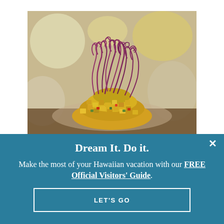[Figure (photo): A beautifully plated Hawaiian dish featuring diced mango/fruit salsa topped with curly purple/red garnish (shredded red cabbage or beet), with a blurred restaurant background.]
Dream It. Do it.
Make the most of your Hawaiian vacation with our FREE Official Visitors' Guide.
LET'S GO